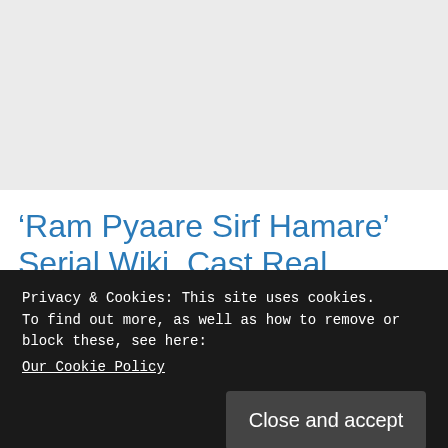[Figure (other): Gray banner/advertisement placeholder area at top of webpage]
‘Ram Pyaare Sirf Hamare’ Serial Wiki, Cast Real Name, Plot | To
Privacy & Cookies: This site uses cookies.
To find out more, as well as how to remove or block these, see here:
Our Cookie Policy
Close and accept
[Figure (photo): Partial photo strip at bottom showing people with colorful background]